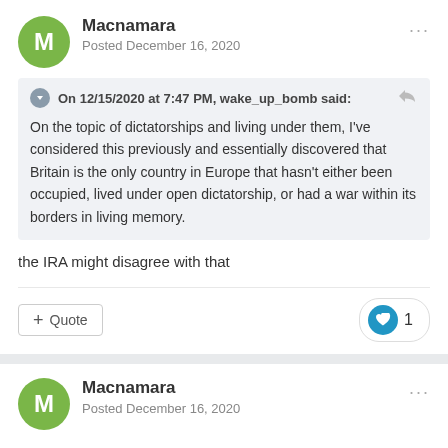Macnamara
Posted December 16, 2020
On 12/15/2020 at 7:47 PM, wake_up_bomb said:
On the topic of dictatorships and living under them, I've considered this previously and essentially discovered that Britain is the only country in Europe that hasn't either been occupied, lived under open dictatorship, or had a war within its borders in living memory.
the IRA might disagree with that
Quote
1
Macnamara
Posted December 16, 2020